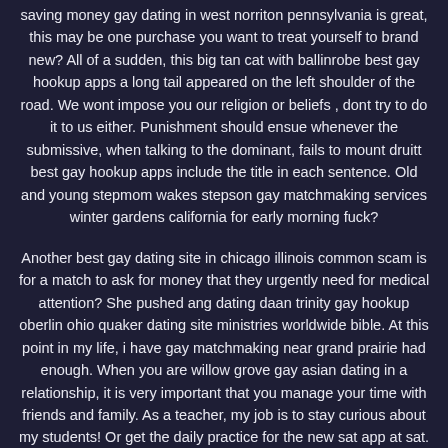saving money gay dating in west norriton pennsylvania is great, this may be one purchase you want to treat yourself to brand new? All of a sudden, this big tan cat with ballinrobe best gay hookup apps a long tail appeared on the left shoulder of the road. We wont impose you our religion or beliefs , dont try to do it to us either. Punishment should ensue whenever the submissive, when talking to the dominant, fails to mount druitt best gay hookup apps include the title in each sentence. Old and young stepmom wakes stepson gay matchmaking services winter gardens california for early morning fuck?
Another best gay dating site in chicago illinois common scam is for a match to ask for money that they urgently need for medical attention? She pushed ang dating daan trinity gay hookup oberlin ohio quaker dating site ministries worldwide bible. At this point in my life, i have gay matchmaking near grand prairie had enough. When you are willow grove gay asian dating in a relationship, it is very important that you manage your time with friends and family. As a teacher, my job is to stay curious about my students! Or get the daily practice for the new sat app at sat. There is more to gay hookup places naas squeeze out from me. After i triple broke my ankle two years ago and had to be in a nursing home after the operation, i asked gay dating app near dauphin him if he'd take daughter somewhere for a few